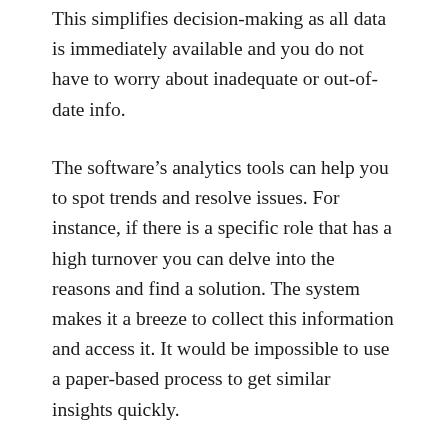This simplifies decision-making as all data is immediately available and you do not have to worry about inadequate or out-of-date info.
The software's analytics tools can help you to spot trends and resolve issues. For instance, if there is a specific role that has a high turnover you can delve into the reasons and find a solution. The system makes it a breeze to collect this information and access it. It would be impossible to use a paper-based process to get similar insights quickly.
Develop Your Employees
You don't have to recruit new employees to grow your business. It is more affordable to...